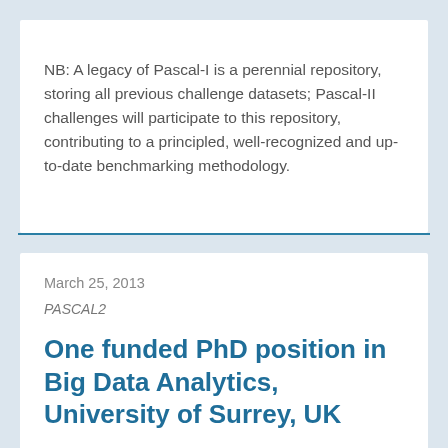NB: A legacy of Pascal-I is a perennial repository, storing all previous challenge datasets; Pascal-II challenges will participate to this repository, contributing to a principled, well-recognized and up-to-date benchmarking methodology.
March 25, 2013
PASCAL2
One funded PhD position in Big Data Analytics, University of Surrey, UK